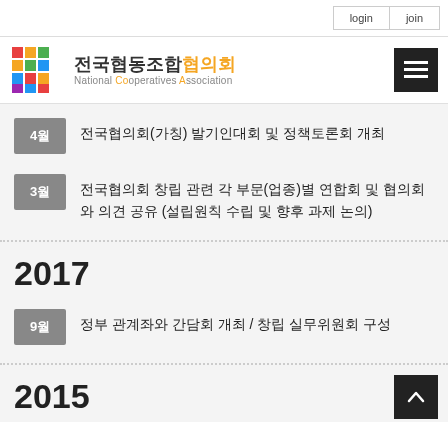login  join
전국협동조합협의회 National Cooperatives Association
4월 — 전국협의회(가칭) 발기인대회 및 정책토론회 개최
3월 — 전국협의회 창립 관련 각 부문(업종)별 연합회 및 협의회와 의견 공유 (설립원칙 수립 및 향후 과제 논의)
2017
9월 — 정부 관계좌와 간담회 개최 / 창립 실무위원회 구성
2015